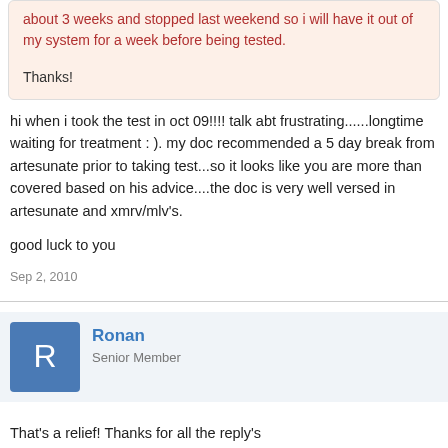about 3 weeks and stopped last weekend so i will have it out of my system for a week before being tested.

Thanks!
hi when i took the test in oct 09!!!! talk abt frustrating......longtime waiting for treatment : ). my doc recommended a 5 day break from artesunate prior to taking test...so it looks like you are more than covered based on his advice....the doc is very well versed in artesunate and xmrv/mlv's.

good luck to you
Sep 2, 2010
Ronan
Senior Member
That's a relief! Thanks for all the reply's